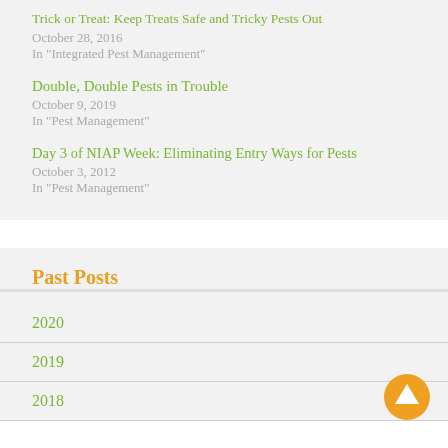Trick or Treat: Keep Treats Safe and Tricky Pests Out
October 28, 2016
In "Integrated Pest Management"
Double, Double Pests in Trouble
October 9, 2019
In "Pest Management"
Day 3 of NIAP Week: Eliminating Entry Ways for Pests
October 3, 2012
In "Pest Management"
Past Posts
2020
2019
2018